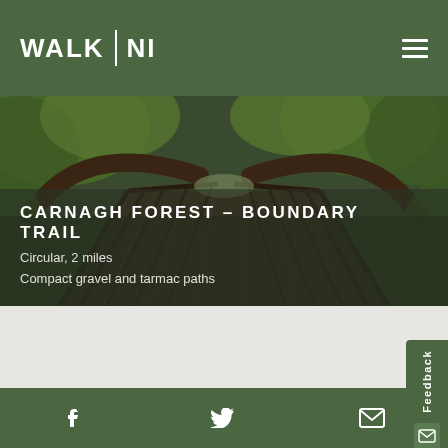WALK NI
[Figure (photo): Wooden bridge/boardwalk with railing in a forested area, viewed from the entry point looking along the bridge path.]
CARNAGH FOREST – BOUNDARY TRAIL
Circular, 2 miles
Compact gravel and tarmac paths
Social media icons: Facebook, Twitter, Email